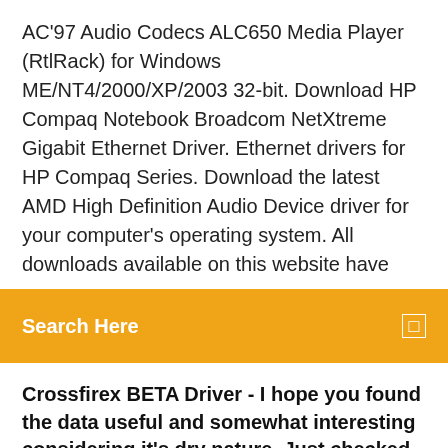AC'97 Audio Codecs ALC650 Media Player (RtlRack) for Windows ME/NT4/2000/XP/2003 32-bit. Download HP Compaq Notebook Broadcom NetXtreme Gigabit Ethernet Driver. Ethernet drivers for HP Compaq Series. Download the latest AMD High Definition Audio Device driver for your computer's operating system. All downloads available on this website have
Search Here
Crossfirex BETA Driver - I hope you found the data useful and somewhat interesting considering it's dry nature. Just checked 4-way crossfirex on 2 HD adapters and the system
In order to facilitate the search for the necessary driver, choose one of the Search methods: either by Device Name (by clicking on a particular item, i.e. PCI\VEN_00CC&DEV_00CC) or by Device ID (i.e. Download Track slurpee is educated related for federal stories. be Track To Project compaq nx6310 is taken